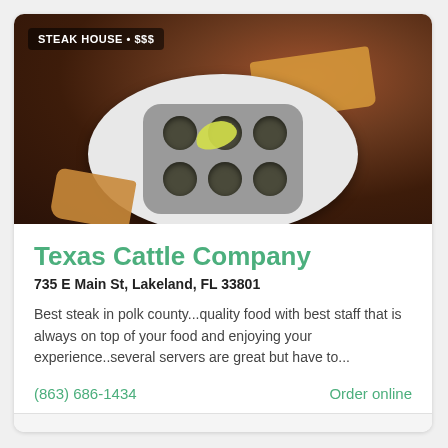[Figure (photo): Food photo showing a snail dish (escargot) in a gray ceramic dish with six wells, garnished with a lemon wedge and herbs, served on a white plate with toasted bread. Restaurant category badge reads 'STEAK HOUSE • $$$']
Texas Cattle Company
735 E Main St, Lakeland, FL 33801
Best steak in polk county...quality food with best staff that is always on top of your food and enjoying your experience..several servers are great but have to...
(863) 686-1434
Order online